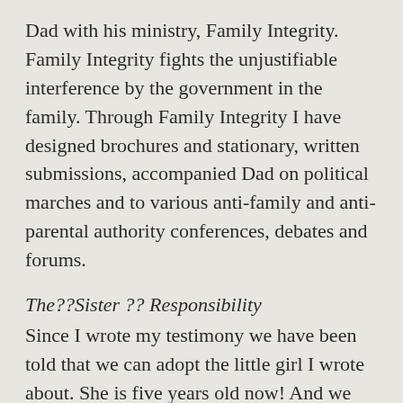Dad with his ministry, Family Integrity. Family Integrity fights the unjustifiable interference by the government in the family. Through Family Integrity I have designed brochures and stationary, written submissions, accompanied Dad on political marches and to various anti-family and anti-parental authority conferences, debates and forums.
The??Sister ?? Responsibility
Since I wrote my testimony we have been told that we can adopt the little girl I wrote about. She is five years old now! And we are looking after a little six-month-old baby that we also hope to adopt! My whole family has always desired to have a larger family and having these two girls in our home is such a blessing. Mum sometimes expresses, what with her age and health, that if my 18-year-old sister and I weren't at home we